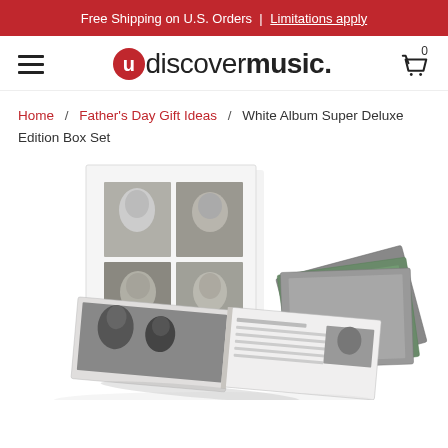Free Shipping on U.S. Orders | Limitations apply
uDiscovermusic. navigation bar with hamburger menu and cart (0 items)
Home / Father's Day Gift Ideas / White Album Super Deluxe Edition Box Set
[Figure (photo): White Album Super Deluxe Edition Box Set product photo showing a white box with four black-and-white Beatles portrait photos on the cover, an open photo book with black-and-white images, and a spread of vinyl records and photographs fanned out.]